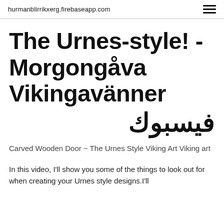hurmanblirrikxerg.firebaseapp.com
The Urnes-style! - Morgongåva Vikingavänner فيسبوك
Carved Wooden Door ~ The Urnes Style Viking Art Viking art
In this video, I'll show you some of the things to look out for when creating your Urnes style designs.I'll